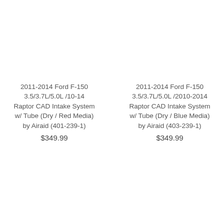2011-2014 Ford F-150 3.5/3.7L/5.0L /10-14 Raptor CAD Intake System w/ Tube (Dry / Red Media) by Airaid (401-239-1)
$349.99
2011-2014 Ford F-150 3.5/3.7L/5.0L /2010-2014 Raptor CAD Intake System w/ Tube (Dry / Blue Media) by Airaid (403-239-1)
$349.99